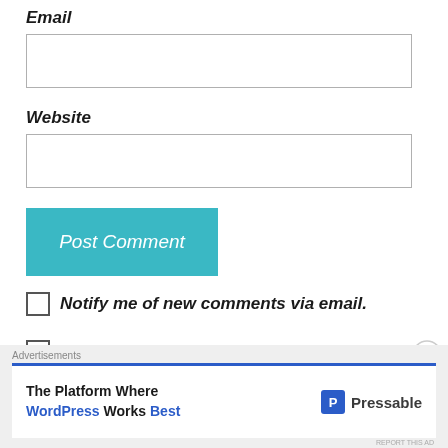Email
[Figure (other): Empty email input text field]
Website
[Figure (other): Empty website input text field]
[Figure (other): Post Comment button (teal/cyan background, italic white text)]
Notify me of new comments via email.
Notify me of new posts via email.
[Figure (infographic): Advertisement banner: 'Advertisements' header, blue line, white box with 'The Platform Where WordPress Works Best' and Pressable logo. Close X button top right.]